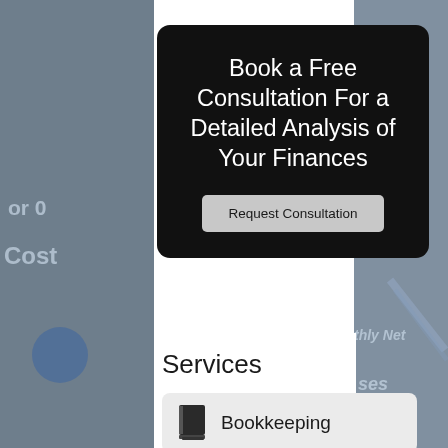[Figure (screenshot): Background image of blurred financial spreadsheet with columns showing Cost and numerical values like 45.43, 47.38, 49._, 51._, 53._, and Monthly Net label. Dark bluish-gray overlay.]
Book a Free Consultation For a Detailed Analysis of Your Finances
Request Consultation
Services
Bookkeeping